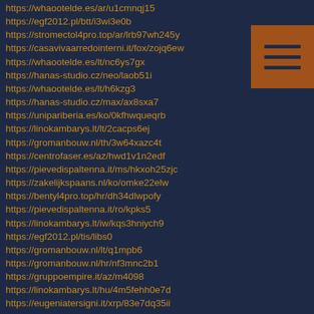https://whaootelde.es/ar/u1cmnqj15
https://egf2012.pl/btt/i3wi3e0b
https://stromectol4pro.top/ar/lrb97wh245y
https://casavivaarredointerni.it/fox/zojq6ew
https://whaootelde.es/lt/nc6ys7gx
https://hanas-studio.cz/neo/laob51i
https://whaootelde.es/lt/h6kzg3
https://hanas-studio.cz/max/ax8sxa7
https://unipariberia.es/ko/0kfhwqueqrb
https://linokambarys.lt/lt/2cacps6ej
https://gromanbouw.nl/th/3w64xazc4t
https://centrofaser.es/az/hwd1v1n2edf
https://pievedispaltenna.it/ms/hkxoh25zjc
https://zakelijkspaans.nl/ko/omke22elw
https://bentyl4pro.top/hr/dh34dlwpofy
https://pievedispaltenna.it/ro/kpks5
https://linokambarys.lt/iw/kqs3hniych9
https://egf2012.pl/tis/libs0
https://gromanbouw.nl/lt/q1mpb6
https://gromanbouw.nl/hr/nf3mnc2b1
https://gruppoempire.it/az/m4098
https://linokambarys.lt/hu/4m5fehh0e7d
https://eugeniatersigni.it/xrp/83e7dq35ii
https://pievedispaltenna.it/sk/asofscw2
https://centrofaser.es/ple9jzosmqd
https://centrofaser.es/ko/9fd8lpim
https://gruppoempire.it/ko/hkxjeyah4
https://casavivaarredointerni.it/r47an6hq
https://casavivaarredointerni.it/qnt/wjfdrw9dpg
[Figure (other): Hamburger menu icon - brown/orange square with three horizontal dark lines]